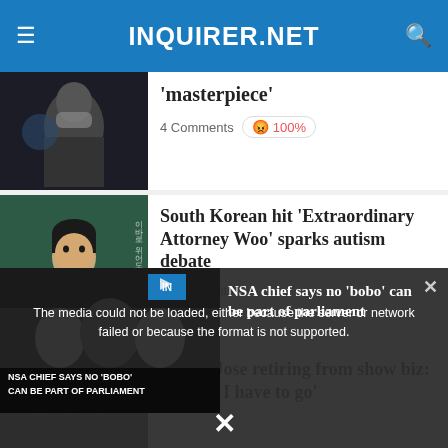INQUIRER.NET
'masterpiece'
4 Comments  100%
South Korean hit 'Extraordinary Attorney Woo' sparks autism debate
2 Comments
Jaclyn Jose retiring from show biz: 'I know I have to go'
[Figure (screenshot): Video player overlay showing error message: The media could not be loaded, either because the server or network failed or because the format is not supported. NSA chief says no 'bobo' can be part of parliament. Close X button at bottom.]